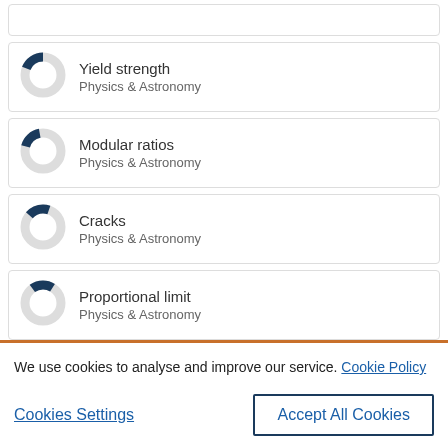[Figure (donut-chart): Partial donut chart for Yield strength, Physics & Astronomy]
[Figure (donut-chart): Partial donut chart for Modular ratios, Physics & Astronomy]
[Figure (donut-chart): Partial donut chart for Cracks, Physics & Astronomy]
[Figure (donut-chart): Partial donut chart for Proportional limit, Physics & Astronomy]
We use cookies to analyse and improve our service. Cookie Policy
Cookies Settings
Accept All Cookies